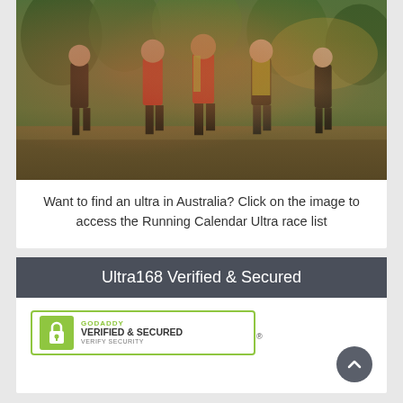[Figure (photo): Group of runners competing in an ultra trail race through a forested area, wearing race bibs and running gear]
Want to find an ultra in Australia? Click on the image to access the Running Calendar Ultra race list
Ultra168 Verified & Secured
[Figure (logo): GoDaddy Verified & Secured badge with green lock icon and Verify Security text]
[Figure (other): Scroll to top button - dark circular button with upward chevron]